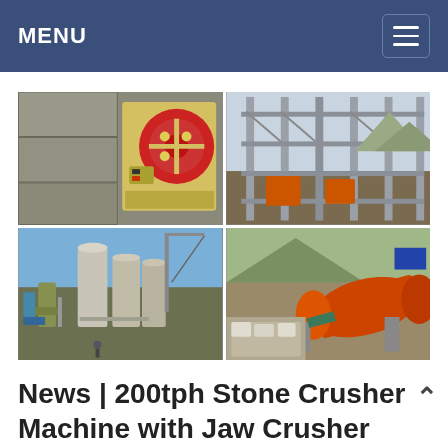MENU
[Figure (photo): Four-panel image grid showing industrial stone crushing and mining equipment: top-left shows stone blocks and jaw crusher machine in yellow/red, top-right shows a multi-story steel construction frame structure, bottom-left shows large industrial silos and processing plant with crane, bottom-right shows orange ball mill and related mining equipment at a site.]
News | 200tph Stone Crusher Machine with Jaw Crusher and ...